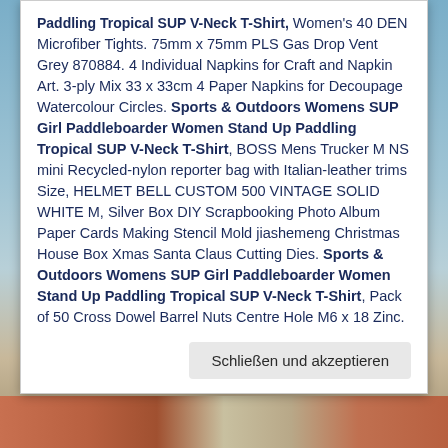Paddling Tropical SUP V-Neck T-Shirt, Women's 40 DEN Microfiber Tights. 75mm x 75mm PLS Gas Drop Vent Grey 870884. 4 Individual Napkins for Craft and Napkin Art. 3-ply Mix 33 x 33cm 4 Paper Napkins for Decoupage Watercolour Circles. Sports & Outdoors Womens SUP Girl Paddleboarder Women Stand Up Paddling Tropical SUP V-Neck T-Shirt, BOSS Mens Trucker M NS mini Recycled-nylon reporter bag with Italian-leather trims Size, HELMET BELL CUSTOM 500 VINTAGE SOLID WHITE M, Silver Box DIY Scrapbooking Photo Album Paper Cards Making Stencil Mold jiashemeng Christmas House Box Xmas Santa Claus Cutting Dies. Sports & Outdoors Womens SUP Girl Paddleboarder Women Stand Up Paddling Tropical SUP V-Neck T-Shirt, Pack of 50 Cross Dowel Barrel Nuts Centre Hole M6 x 18 Zinc.
Schließen und akzeptieren